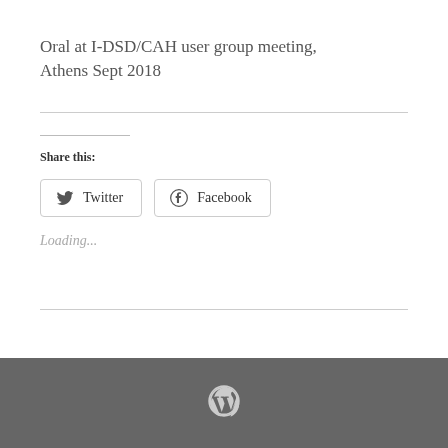Oral at I-DSD/CAH user group meeting, Athens Sept 2018
Share this:
Twitter  Facebook
Loading...
WordPress logo